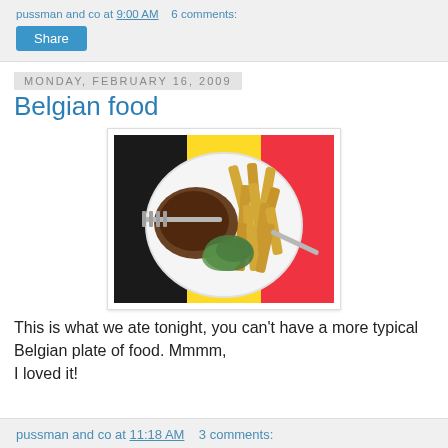pussman and co at 9:00 AM   6 comments:
Share
Monday, February 16, 2009
Belgian food
[Figure (photo): A plate of Belgian food — steak, frites (french fries), and greens on a white plate, placed on a Belgian flag (black, yellow, red stripes). A fork rests on the steak and a knife is on the right side.]
This is what we ate tonight, you can't have a more typical Belgian plate of food. Mmmm, I loved it!
pussman and co at 11:18 AM   3 comments: